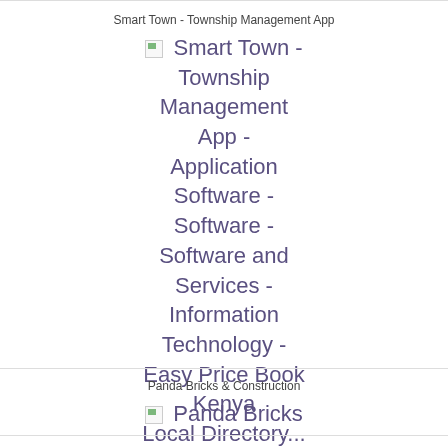Smart Town - Township Management App
[Figure (other): Broken image placeholder followed by text: Smart Town - Township Management App - Application Software - Software - Software and Services - Information Technology - Easy Price Book Kenya Local Directory...]
Panda Bricks & Construction
[Figure (other): Broken image placeholder followed by text: Panda Bricks]